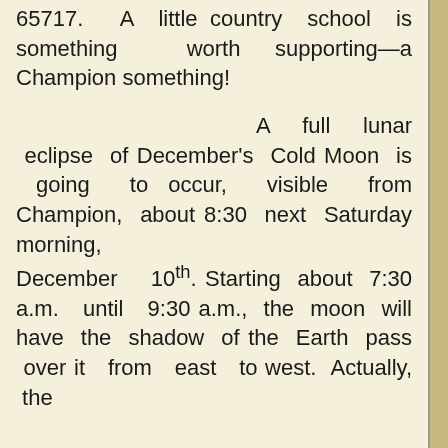65717. A little country school is something worth supporting—a Champion something!
A full lunar eclipse of December's Cold Moon is going to occur, visible from Champion, about 8:30 next Saturday morning, December 10th. Starting about 7:30 a.m. until 9:30 a.m., the moon will have the shadow of the Earth pass over it from east to west. Actually, the